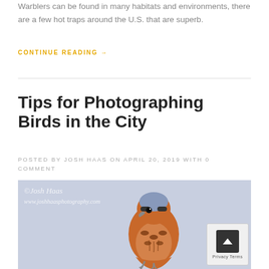Warblers can be found in many habitats and environments, there are a few hot traps around the U.S. that are superb.
CONTINUE READING →
Tips for Photographing Birds in the City
POSTED BY JOSH HAAS ON APRIL 20, 2019 WITH 0 COMMENT
[Figure (photo): A kestrel or small falcon bird perched, with orange-brown and spotted plumage against a light blue-grey background. A watermark reading © Josh Haas with a website URL appears in the top left corner.]